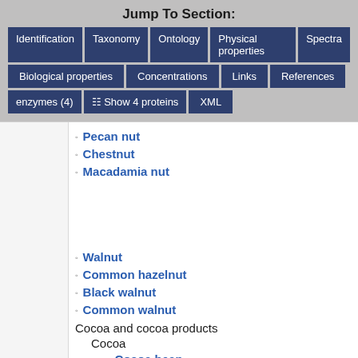Jump To Section:
Identification
Taxonomy
Ontology
Physical properties
Spectra
Biological properties
Concentrations
Links
References
enzymes (4)
Show 4 proteins
XML
Pecan nut
Chestnut
Macadamia nut
Walnut
Common hazelnut
Black walnut
Common walnut
Cocoa and cocoa products
Cocoa
Cocoa bean
Aquatic foods
Mollusks